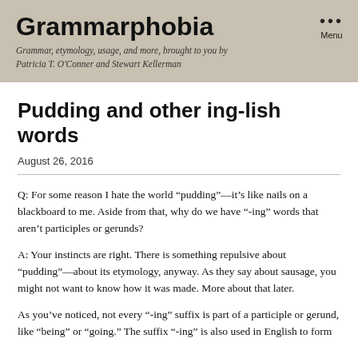Grammarphobia
Grammar, etymology, usage, and more, brought to you by Patricia T. O'Conner and Stewart Kellerman
Pudding and other ing-lish words
August 26, 2016
Q: For some reason I hate the world “pudding”—it’s like nails on a blackboard to me. Aside from that, why do we have “-ing” words that aren’t participles or gerunds?
A: Your instincts are right. There is something repulsive about “pudding”—about its etymology, anyway. As they say about sausage, you might not want to know how it was made. More about that later.
As you’ve noticed, not every “-ing” suffix is part of a participle or gerund, like “being” or “going.” The suffix “-ing” is also used in English to form